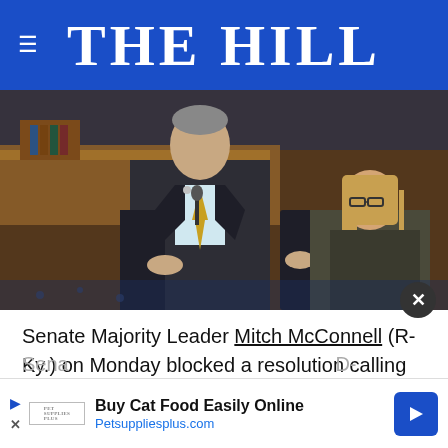THE HILL
[Figure (photo): Senator speaking at a podium on the Senate floor, with a woman in a dark jacket standing behind him]
Senate Majority Leader Mitch McConnell (R-Ky.) on Monday blocked a resolution calling for special counsel Robert Mueller's report to be released publicly.
Sena [D-